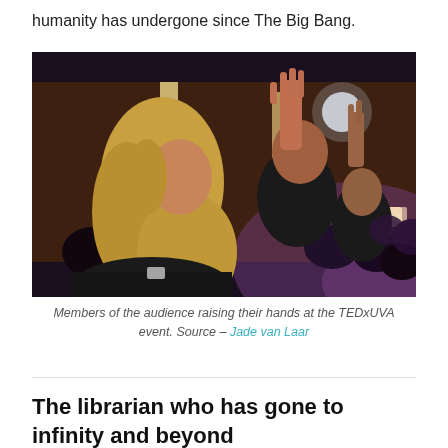humanity has undergone since The Big Bang.
[Figure (photo): Audience members at a TEDxUVA event raising their hands in a darkened auditorium. A woman with long blonde hair in the foreground has her hand raised. Warm amber lighting in the background.]
Members of the audience raising their hands at the TEDxUVA event. Source – Jade van Laar
The librarian who has gone to infinity and beyond